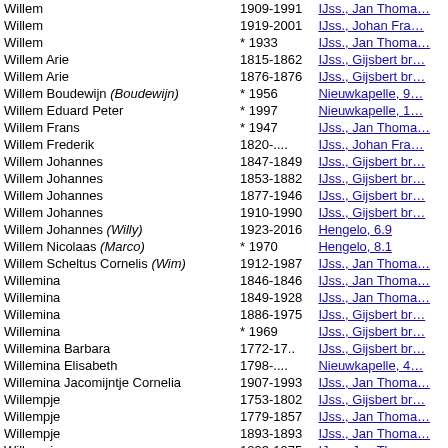| Name | Years | Source |
| --- | --- | --- |
| Willem | 1909-1991 | IJss., Jan Thoma… |
| Willem | 1919-2001 | IJss., Johan Fra… |
| Willem | * 1933 | IJss., Jan Thoma… |
| Willem Arie | 1815-1862 | IJss., Gijsbert br… |
| Willem Arie | 1876-1876 | IJss., Gijsbert br… |
| Willem Boudewijn (Boudewijn) | * 1956 | Nieuwkapelle, 9… |
| Willem Eduard Peter | * 1997 | Nieuwkapelle, 1… |
| Willem Frans | * 1947 | IJss., Jan Thoma… |
| Willem Frederik | 1820-.... | IJss., Johan Fra… |
| Willem Johannes | 1847-1849 | IJss., Gijsbert br… |
| Willem Johannes | 1853-1882 | IJss., Gijsbert br… |
| Willem Johannes | 1877-1946 | IJss., Gijsbert br… |
| Willem Johannes | 1910-1990 | IJss., Gijsbert br… |
| Willem Johannes (Willy) | 1923-2016 | Hengelo, 6.9 |
| Willem Nicolaas (Marco) | * 1970 | Hengelo, 8.1 |
| Willem Scheltus Cornelis (Wim) | 1912-1987 | IJss., Jan Thoma… |
| Willemina | 1846-1846 | IJss., Jan Thoma… |
| Willemina | 1849-1928 | IJss., Jan Thoma… |
| Willemina | 1886-1975 | IJss., Gijsbert br… |
| Willemina | * 1969 | IJss., Gijsbert br… |
| Willemina Barbara | 1772-17.. | IJss., Gijsbert br… |
| Willemina Elisabeth | 1798-.... | Nieuwkapelle, 4… |
| Willemina Jacomijntje Cornelia | 1907-1993 | IJss., Jan Thoma… |
| Willempje | 1753-1802 | IJss., Gijsbert br… |
| Willempje | 1779-1857 | IJss., Jan Thoma… |
| Willempje | 1893-1893 | IJss., Jan Thoma… |
| Willempje | 1893-1975 | IJss., Jan Thoma… |
| Willibrordus Johannes Maria (Willy) | 1949-1992 | Hengelo, 7.23 |
| Willy Marien | 1933-2010 | IJss., Jan Thoma… |
| Wouter Reyer Ruth | * 1986 | IJss., Jan Thoma… |